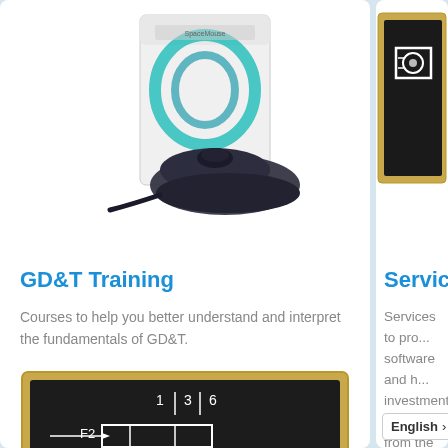[Figure (photo): SpaceMouse or 3D controller device with blue swirl packaging, shown in top-left card area]
[Figure (photo): Chalkboard with engineering/GD&T diagram partially visible in top-right card area]
GD&T Training
Courses to help you better understand and interpret the fundamentals of GD&T.
[Figure (photo): Chalkboard with GD&T engineering diagram showing F2 label and tolerance symbols]
Services
Services to pro... software and h... investment wit... from the larges... SOLIDWORKS a... Value Added Re...
English >